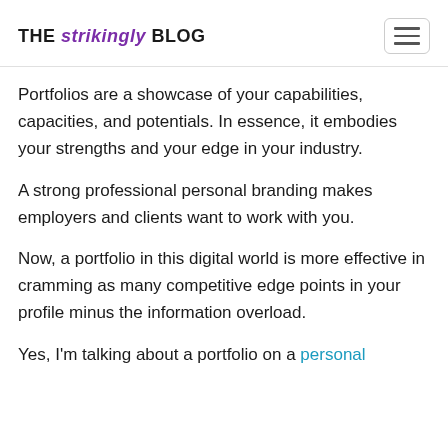THE strikingly BLOG
Portfolios are a showcase of your capabilities, capacities, and potentials. In essence, it embodies your strengths and your edge in your industry.
A strong professional personal branding makes employers and clients want to work with you.
Now, a portfolio in this digital world is more effective in cramming as many competitive edge points in your profile minus the information overload.
Yes, I'm talking about a portfolio on a personal